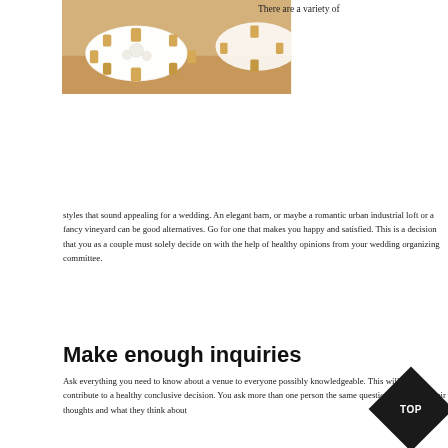[Figure (photo): Wedding banquet hall with round tables covered in white tablecloths and gold chairs]
There are a variety of styles that sound appealing for a wedding. An elegant barn, or maybe a romantic urban industrial loft or a fancy vineyard can be good alternatives. Go for one that makes you happy and satisfied. This is a decision that you as a couple must solely decide on with the help of healthy opinions from your wedding organizing committee.
Make enough inquiries
Ask everything you need to know about a venue to everyone possibly knowledgeable. This will highly contribute to a healthy conclusive decision. You ask more than one person the same question and weigh their thoughts and what they think about